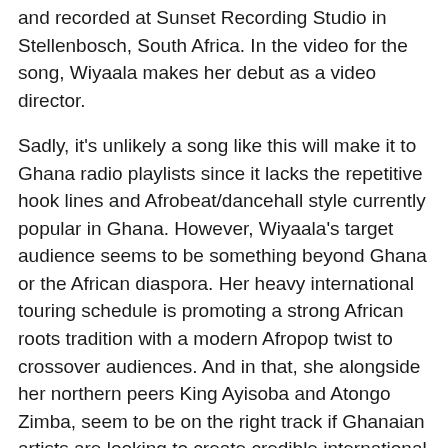and recorded at Sunset Recording Studio in Stellenbosch, South Africa. In the video for the song, Wiyaala makes her debut as a video director.
Sadly, it's unlikely a song like this will make it to Ghana radio playlists since it lacks the repetitive hook lines and Afrobeat/dancehall style currently popular in Ghana. However, Wiyaala's target audience seems to be something beyond Ghana or the African diaspora. Her heavy international touring schedule is promoting a strong African roots tradition with a modern Afropop twist to crossover audiences. And in that, she alongside her northern peers King Ayisoba and Atongo Zimba, seem to be on the right track if Ghanaian artists are looking to create credible international careers. And it makes sense. As Ghanaian rapper Manifest has already pointed out, you don't paid royalties in Ghana whereas you do when you perform in countries with royalty collection systems that work.